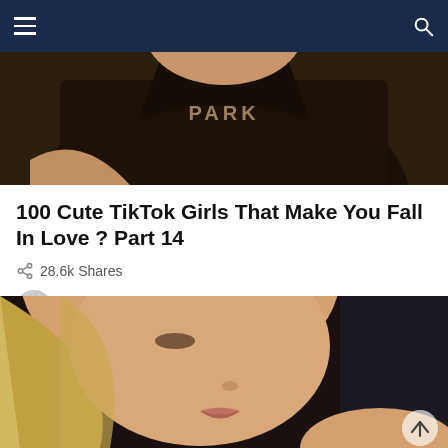Navigation bar with menu and search icons
[Figure (photo): Top portion of a photo showing a person wearing a dark jacket with 'PARK' text visible]
100 Cute TikTok Girls That Make You Fall In Love ? Part 14
28.6k Shares
by VideoFeed TV  12 months ago
[Figure (photo): Close-up portrait photo of a young blonde woman with long straight hair, looking downward, dramatic eyelashes, natural makeup]